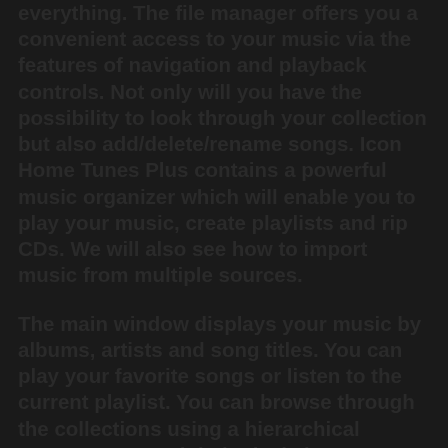everything. The file manager offers you a convenient access to your music via the features of navigation and playback controls. Not only will you have the possibility to look through your collection but also add/delete/rename songs. Icon Home Tunes Plus contains a powerful music organizer which will enable you to play your music, create playlists and rip CDs. We will also see how to import music from multiple sources.
The main window displays your music by albums, artists and song titles. You can play your favorite songs or listen to the current playlist. You can browse through the collections using a hierarchical structure or an alphabetical view. You can also create playlists. You can edit all song data including the title, the song description, the artist, the length of the song, the album, the year of the recording and others. All this is easy to do with a nice, intuitive, and fully-featured user